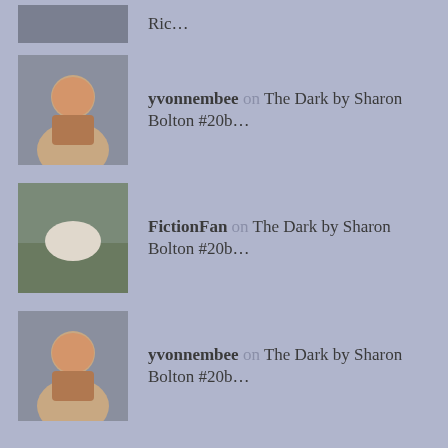Ric...
yvonnembee on The Dark by Sharon Bolton #20b...
FictionFan on The Dark by Sharon Bolton #20b...
yvonnembee on The Dark by Sharon Bolton #20b...
INSTAGRAM
No Instagram images were found.